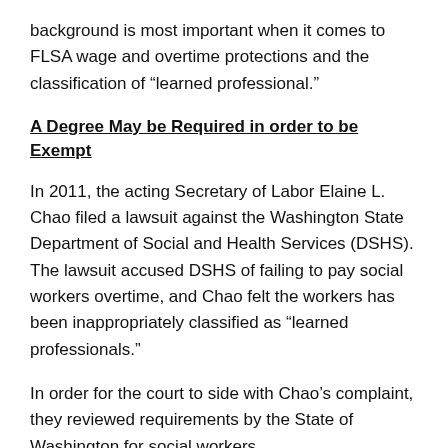background is most important when it comes to FLSA wage and overtime protections and the classification of “learned professional.”
A Degree May be Required in order to be Exempt
In 2011, the acting Secretary of Labor Elaine L. Chao filed a lawsuit against the Washington State Department of Social and Health Services (DSHS). The lawsuit accused DSHS of failing to pay social workers overtime, and Chao felt the workers has been inappropriately classified as “learned professionals.”
In order for the court to side with Chao’s complaint, they reviewed requirements by the State of Washington for social workers.
The state requires a person have: